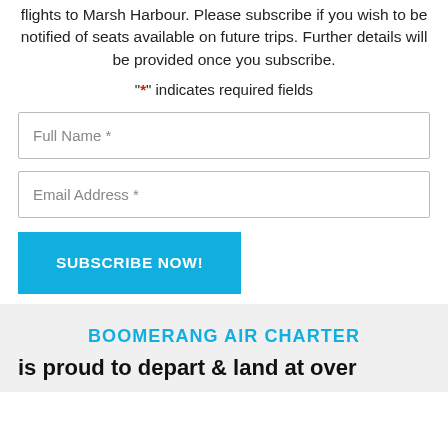flights to Marsh Harbour. Please subscribe if you wish to be notified of seats available on future trips. Further details will be provided once you subscribe.
"*" indicates required fields
Full Name *
Email Address *
SUBSCRIBE NOW!
BOOMERANG AIR CHARTER
is proud to depart & land at over